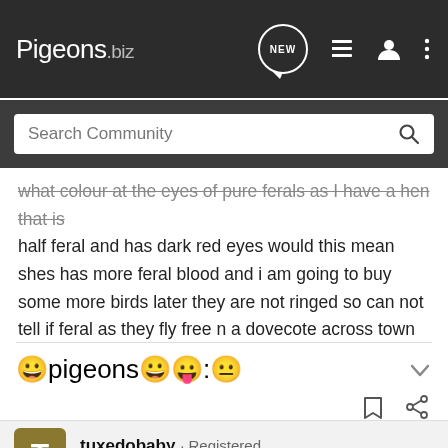Pigeons.biz
Search Community
what colour at the eyes of pure ferals as I have a hen that is half feral and has dark red eyes would this mean shes has more feral blood and i am going to buy some more birds later they are not ringed so can not tell if feral as they fly free n a dovecote across town would all of these be feral?
😀pigeons😀😛:😐
tuxedobaby · Registered
Joined Sep 9, 2008 · 875 Posts
#2 · Apr 20, 2009